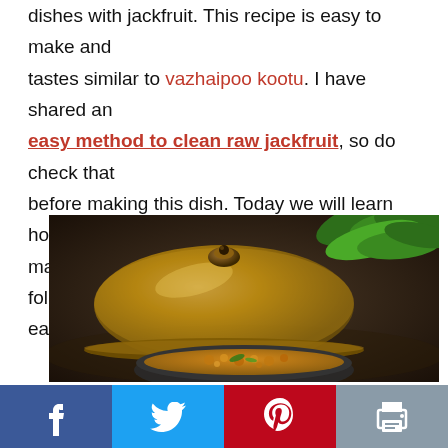dishes with jackfruit. This recipe is easy to make and tastes similar to vazhaipoo kootu. I have shared an easy method to clean raw jackfruit, so do check that before making this dish. Today we will learn how to make South Indian style palakkai kootu following this easy recipe.
[Figure (photo): A close-up photo of a brass/gold lidded pot in the background with green curry leaves, and a bowl of palakkai kootu (raw jackfruit curry) in the foreground, placed on a dark wooden surface.]